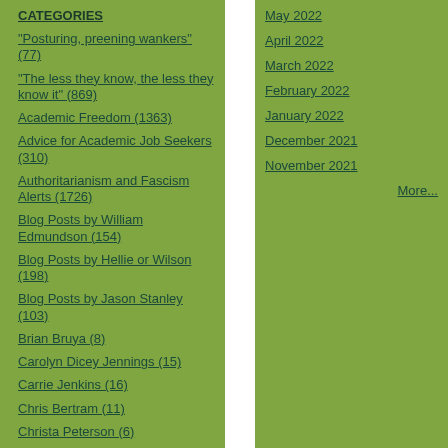CATEGORIES
"Posturing, preening wankers" (77)
"The less they know, the less they know it" (869)
Academic Freedom (1363)
Advice for Academic Job Seekers (310)
Authoritarianism and Fascism Alerts (1726)
Blog Posts by William Edmundson (154)
Blog Posts by Hellie or Wilson (198)
Blog Posts by Jason Stanley (103)
Brian Bruya (8)
Carolyn Dicey Jennings (15)
Carrie Jenkins (16)
Chris Bertram (11)
Christa Peterson (6)
Coronavirus (441)
May 2022
April 2022
March 2022
February 2022
January 2022
December 2021
November 2021
More...